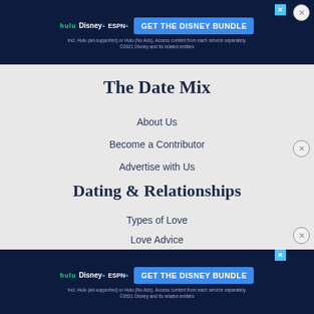[Figure (screenshot): Disney Bundle advertisement banner at the top with Hulu, Disney+, ESPN+ logos and GET THE DISNEY BUNDLE button]
The Date Mix
About Us
Become a Contributor
Advertise with Us
Dating & Relationships
Types of Love
Love Advice
[Figure (screenshot): Disney Bundle advertisement banner at the bottom with Hulu, Disney+, ESPN+ logos and GET THE DISNEY BUNDLE button]